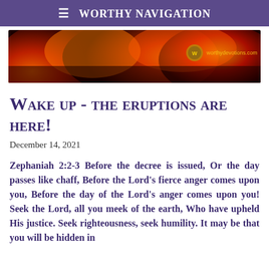≡ Worthy Navigation
[Figure (photo): Banner image showing fiery orange and red glowing embers or volcanic scene with worthydevotions.com watermark]
Wake up - the eruptions are here!
December 14, 2021
Zephaniah 2:2-3 Before the decree is issued, Or the day passes like chaff, Before the Lord's fierce anger comes upon you, Before the day of the Lord's anger comes upon you! Seek the Lord, all you meek of the earth, Who have upheld His justice. Seek righteousness, seek humility. It may be that you will be hidden in